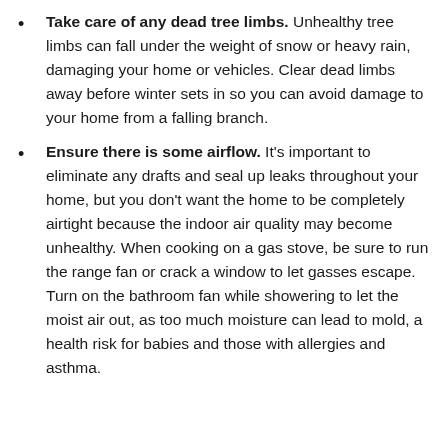Take care of any dead tree limbs. Unhealthy tree limbs can fall under the weight of snow or heavy rain, damaging your home or vehicles. Clear dead limbs away before winter sets in so you can avoid damage to your home from a falling branch.
Ensure there is some airflow. It's important to eliminate any drafts and seal up leaks throughout your home, but you don't want the home to be completely airtight because the indoor air quality may become unhealthy. When cooking on a gas stove, be sure to run the range fan or crack a window to let gasses escape. Turn on the bathroom fan while showering to let the moist air out, as too much moisture can lead to mold, a health risk for babies and those with allergies and asthma.